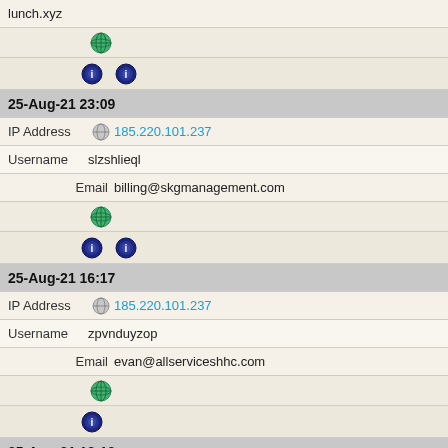lunch.xyz
[Figure (other): Globe icon (green)]
[Figure (other): Two Tor onion icons]
25-Aug-21 23:09
IP Address  185.220.101.237
Username  slzshlieql
Email  billing@skgmanagement.com
[Figure (other): Globe icon (green)]
[Figure (other): Two Tor onion icons]
25-Aug-21 16:17
IP Address  185.220.101.237
Username  zpvnduyzop
Email  evan@allserviceshhc.com
[Figure (other): Globe icon (green)]
[Figure (other): One Tor onion icon]
25-Aug-21 12:12
IP Address  185.220.101.237